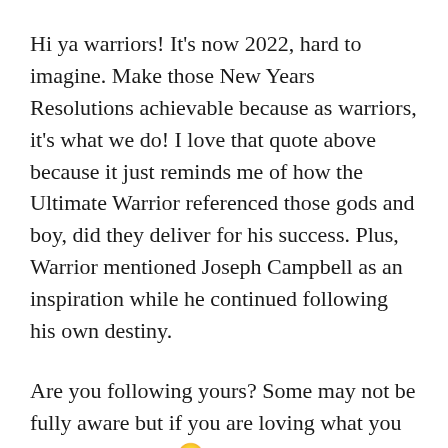Hi ya warriors! It's now 2022, hard to imagine. Make those New Years Resolutions achievable because as warriors, it's what we do! I love that quote above because it just reminds me of how the Ultimate Warrior referenced those gods and boy, did they deliver for his success. Plus, Warrior mentioned Joseph Campbell as an inspiration while he continued following his own destiny.
Are you following yours? Some may not be fully aware but if you are loving what you do, that's a clue. 😏 I wanted to show a pic of Warrior's Gym since that became part of his destiny also. It may not have been around that long but he